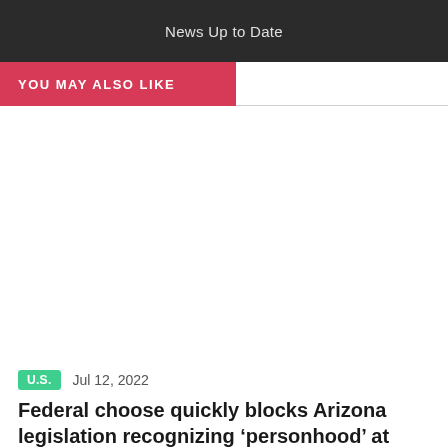News Up to Date
YOU MAY ALSO LIKE
U.S.   Jul 12, 2022
Federal choose quickly blocks Arizona legislation recognizing ‘personhood’ at fertilization